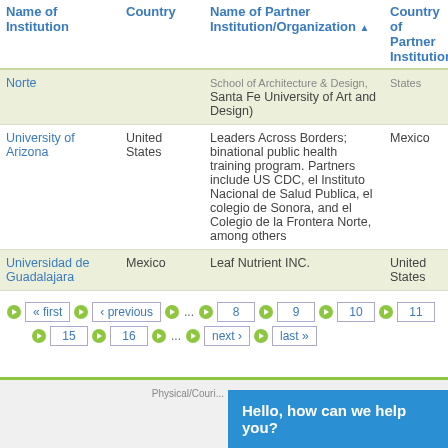| Name of Institution | Country | Name of Partner Institution/Organization | Country of Partner Institution | Current Status Agree... |
| --- | --- | --- | --- | --- |
| Norte |  | School of Architecture & Design, Santa Fe University of Art and Design) | States |  |
| University of Arizona | United States | Leaders Across Borders; binational public health training program. Partners include US CDC, el Instituto Nacional de Salud Publica, el colegio de Sonora, and el Colegio de la Frontera Norte, among others | Mexico | Active |
| Universidad de Guadalajara | Mexico | Leaf Nutrient INC. | United States | Active |
« first  ‹ previous  ...  8  9  10  11  15  16  ...  next ›  last »